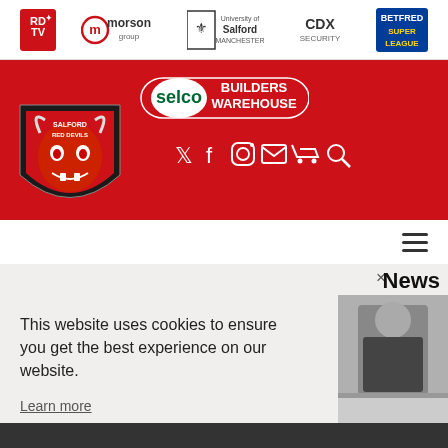[Figure (logo): Sponsor bar with RDTV, Morson Group, University of Salford Manchester, CDX Security, Betfred Super League logos]
[Figure (logo): Selco Builders Warehouse logo on red header background]
[Figure (logo): Salford Red Devils devil mascot shield logo]
[Figure (infographic): Social media icons: Twitter, Facebook, Instagram, Email, Cart, Search in white on red]
[Figure (illustration): Hamburger menu icon (three horizontal lines)]
News
This website uses cookies to ensure you get the best experience on our website.
Learn more
Decline
Accept
[Figure (photo): Partial photo of person in black clothing, indoor setting, visible on right side]